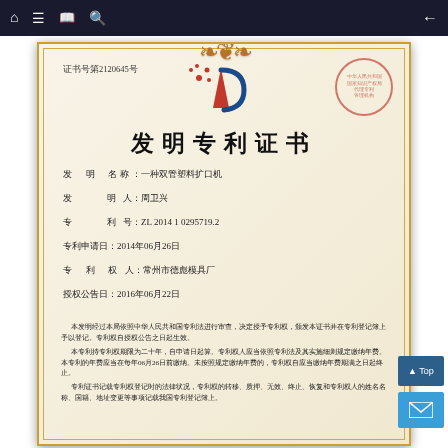Navigation bar with home, menu, book, search icons and back arrow
证书号第2120645号
[Figure (logo): China National Intellectual Property Administration logo - stylized P with red triangle and blue arc with red stars]
发明专利证书
发明名称：一种双管塑料扩口机
发明人：周卫兴
专利号：ZL 2014 1 0295719.2
专利申请日：2014年06月26日
专利权人：常州市德彪模具厂
授权公告日：2016年06月22日
本发明经过本局依照中华人民共和国专利法进行审查，决定授予专利权，颁发本证书并在专利登记簿上予以登记。专利权自授权公告之日起生效。
本专利持专利权期限为二十年，自申请日起算。专利权人应当依照专利法及其实施细则规定缴纳年费。本专利的年费应当在每年06月26日前缴纳。未按照规定缴纳年费的，专利权自应当缴纳年费期满之日起终止。
专利证书记载专利权登记时的法律状况，专利权的转移、质押、无效、终止、恢复和专利权人的姓名名称、国籍、地址变更等事项记载我国专利登记簿上。